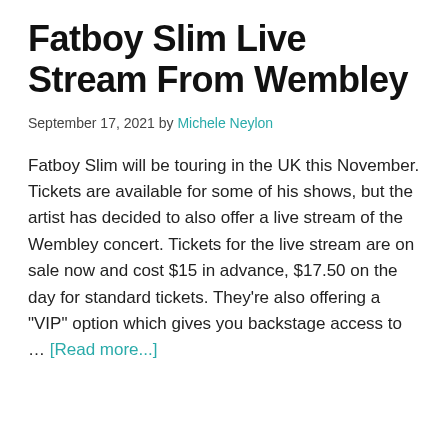Fatboy Slim Live Stream From Wembley
September 17, 2021 by Michele Neylon
Fatboy Slim will be touring in the UK this November. Tickets are available for some of his shows, but the artist has decided to also offer a live stream of the Wembley concert. Tickets for the live stream are on sale now and cost $15 in advance, $17.50 on the day for standard tickets. They're also offering a "VIP" option which gives you backstage access to … [Read more...]